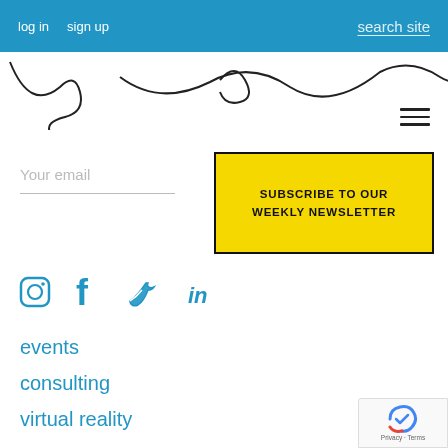log in   sign up   search site
[Figure (illustration): Decorative squiggly line drawing on white background]
[Figure (other): Hamburger menu icon (three horizontal lines)]
Your email
SUBSCRIBE TO OUR WEEKLY NEWSLETTER
[Figure (other): Social media icons: Instagram, Facebook, Twitter, LinkedIn in blue]
events
consulting
virtual reality